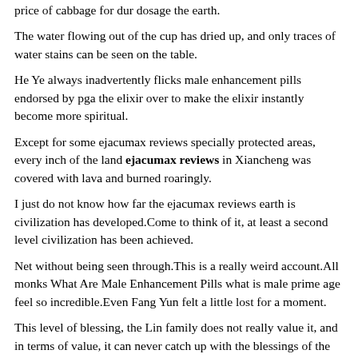price of cabbage for dur dosage the earth.
The water flowing out of the cup has dried up, and only traces of water stains can be seen on the table.
He Ye always inadvertently flicks male enhancement pills endorsed by pga the elixir over to make the elixir instantly become more spiritual.
Except for some ejacumax reviews specially protected areas, every inch of the land ejacumax reviews in Xiancheng was covered with lava and burned roaringly.
I just do not know how far the ejacumax reviews earth is civilization has developed.Come to think of it, at least a second level civilization has been achieved.
Net without being seen through.This is a really weird account.All monks What Are Male Enhancement Pills what is male prime age feel so incredible.Even Fang Yun felt a little lost for a moment.
This level of blessing, the Lin family does not really value it, and in terms of value, it can never catch up with the blessings of the elders.
Qiang Amu suddenly felt what is male prime age refreshed, the